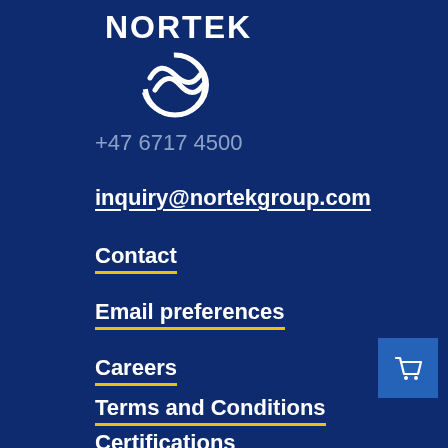[Figure (logo): Nortek logo — white circular swoosh with NORTEK text]
+47 6717 4500
inquiry@nortekgroup.com
Contact
Email preferences
Careers
Terms and Conditions
Certifications
[Figure (illustration): Shopping cart icon in a blue square button]